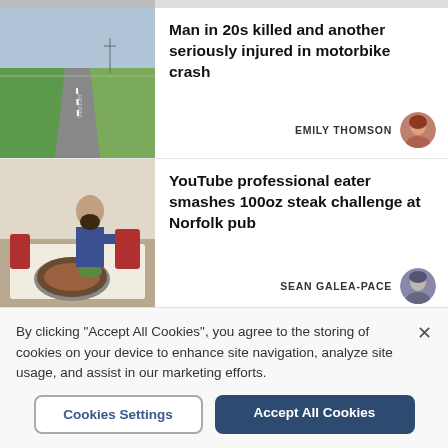[Figure (photo): Partial top of a news card showing a cropped image thumbnail]
[Figure (photo): Aerial view of a straight road through green fields (motorbike crash article)]
Man in 20s killed and another seriously injured in motorbike crash
EMILY THOMSON
[Figure (photo): Bearded man at a table with a large steak meal in front of him (YouTube eater article)]
YouTube professional eater smashes 100oz steak challenge at Norfolk pub
SEAN GALEA-PACE
By clicking “Accept All Cookies”, you agree to the storing of cookies on your device to enhance site navigation, analyze site usage, and assist in our marketing efforts.
Cookies Settings
Accept All Cookies